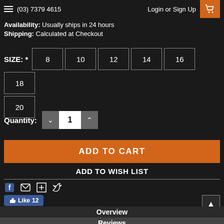(03) 7379 4615  Login or Sign Up
Availability: Usually ships in 24 hours
Shipping: Calculated at Checkout
SIZE: * 8 10 12 14 16 18 20
Quantity: 1
ADD TO CART
ADD TO WISH LIST
Like 12
Overview
Reviews